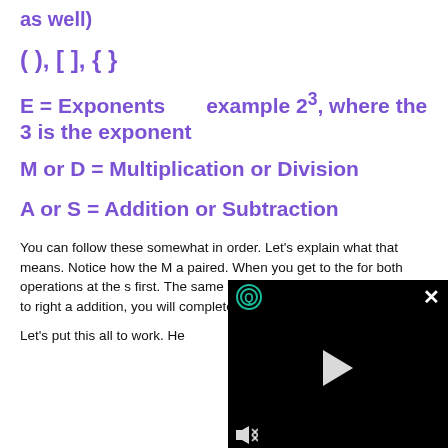as well)
( ), [ ], { }
E = Exponents    example 2³, where the 3 is the exponent
M or D = Multiplication or Division
A or S = Addition or Subtraction
You can follow these somewhat in order. Let's explain what that means. Notice how the M a... paired. When you get to the... for both operations at the s... first. The same thing goes w... problems from left to right a... addition, you will complete...
Let's put this all to work. He...
[Figure (screenshot): Embedded video player overlay with dark/black background, showing a circular Q icon with teal border in top-left, X close button in top-right, a play button triangle in center, and a muted speaker icon in bottom-left.]